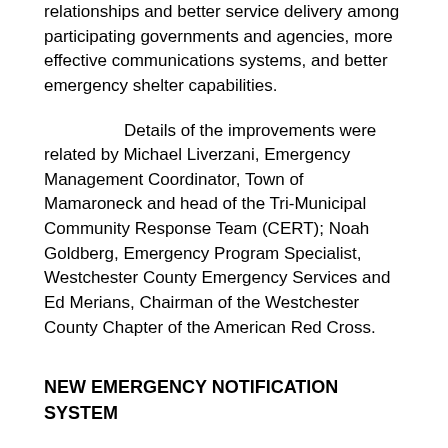relationships and better service delivery among participating governments and agencies, more effective communications systems, and better emergency shelter capabilities.
Details of the improvements were related by Michael Liverzani, Emergency Management Coordinator, Town of Mamaroneck and head of the Tri-Municipal Community Response Team (CERT); Noah Goldberg, Emergency Program Specialist, Westchester County Emergency Services and Ed Merians, Chairman of the Westchester County Chapter of the American Red Cross.
NEW EMERGENCY NOTIFICATION SYSTEM
Mr. Liverzani said that under a new Emergency Notification System (Larchmont has a similar system) his group can dispense immediate disaster information by